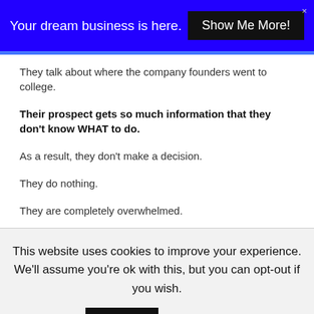Your dream business is here. [Show Me More!] ×
They talk about where the company founders went to college.
Their prospect gets so much information that they don't know WHAT to do.
As a result, they don't make a decision.
They do nothing.
They are completely overwhelmed.
This website uses cookies to improve your experience. We'll assume you're ok with this, but you can opt-out if you wish. [Accept] [Read More]